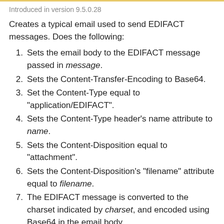Introduced in version 9.5.0.28
Creates a typical email used to send EDIFACT messages. Does the following:
Sets the email body to the EDIFACT message passed in message.
Sets the Content-Transfer-Encoding to Base64.
Set the Content-Type equal to "application/EDIFACT".
Sets the Content-Type header’s name attribute to name.
Sets the Content-Disposition equal to "attachment".
Sets the Content-Disposition's "filename" attribute equal to filename.
The EDIFACT message is converted to the charset indicated by charset, and encoded using Base64 in the email body.
The email's subject, recipients, FROM address, and other headers are left unmodified.